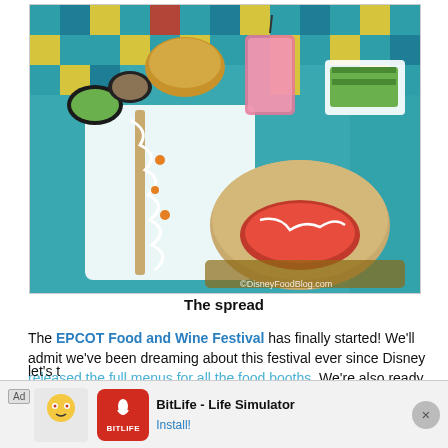[Figure (photo): Overhead view of food spread on a colorful mosaic table: a skewer with white drizzle and orange garnish on a white plate, a pita sandwich on a wooden tray, dipping sauces, a pink drink, and a green layered dessert. Watermark: ©DisneyFoodBlog.com]
The spread
The EPCOT Food and Wine Festival has finally started! We'll admit we've been dreaming about this festival ever since Disney released the full menus for all the food booths. We're also ready to try out this year's cheese crawl and check out the Eat to the Beat concert series, which is returning to the festival after a two-year hiatus. But now, let's t…
[Figure (other): Advertisement banner: BitLife - Life Simulator app ad with red icon, Install! button, and close X button]